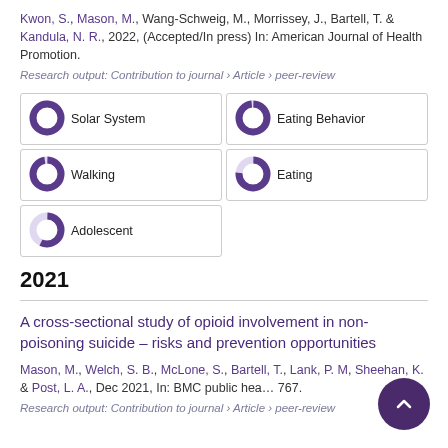Kwon, S., Mason, M., Wang-Schweig, M., Morrissey, J., Bartell, T. & Kandula, N. R., 2022, (Accepted/In press) In: American Journal of Health Promotion.
Research output: Contribution to journal › Article › peer-review
[Figure (infographic): Five keyword badges with donut-style percentage indicators: Solar System 100%, Eating Behavior 98%, Walking 97%, Eating 76%, Adolescent 57%]
2021
A cross-sectional study of opioid involvement in non-poisoning suicide – risks and prevention opportunities
Mason, M., Welch, S. B., McLone, S., Bartell, T., Lank, P. M., Sheehan, K. & Post, L. A., Dec 2021, In: BMC public hea... 767.
Research output: Contribution to journal › Article › peer-review